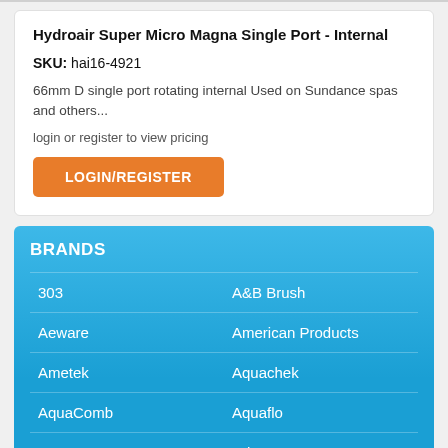Hydroair Super Micro Magna Single Port - Internal
SKU: hai16-4921
66mm D single port rotating internal Used on Sundance spas and others...
login or register to view pricing
LOGIN/REGISTER
BRANDS
303
A&B Brush
Aeware
American Products
Ametek
Aquachek
AquaComb
Aquaflo
Aquea
Arlec